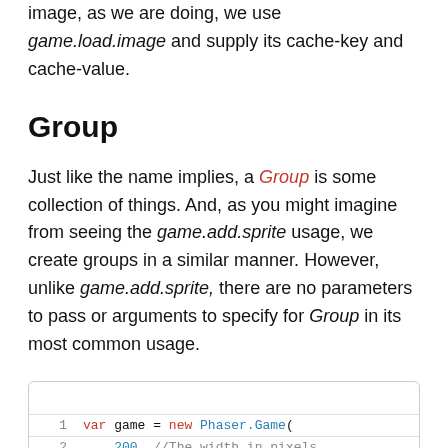image, as we are doing, we use game.load.image and supply its cache-key and cache-value.
Group
Just like the name implies, a Group is some collection of things. And, as you might imagine from seeing the game.add.sprite usage, we create groups in a similar manner. However, unlike game.add.sprite, there are no parameters to pass or arguments to specify for Group in its most common usage.
1   var game = new Phaser.Game(
2       200, //The width in pixels